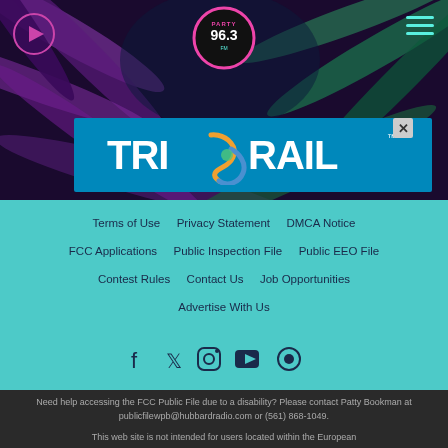[Figure (screenshot): Radio station website header with dark tropical palm leaf background, play button icon top left, Party 96.3 logo in center top, hamburger menu icon top right, and Tri-Rail advertisement banner in the middle]
Terms of Use   Privacy Statement   DMCA Notice   FCC Applications   Public Inspection File   Public EEO File   Contest Rules   Contact Us   Job Opportunities   Advertise With Us
[Figure (infographic): Social media icons: Facebook, Twitter, Instagram, YouTube, and another icon in teal section]
Need help accessing the FCC Public File due to a disability? Please contact Patty Bookman at publicfilewpb@hubbardradio.com or (561) 868-1049.
This web site is not intended for users located within the European